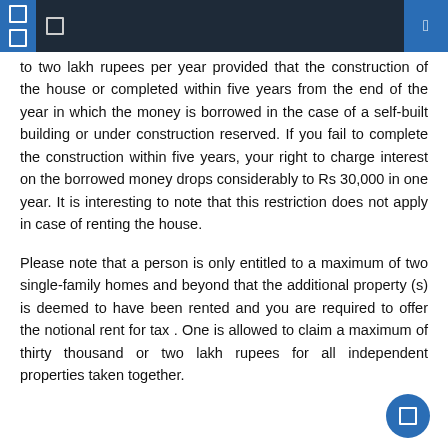Navigation header with icons
to two lakh rupees per year provided that the construction of the house or completed within five years from the end of the year in which the money is borrowed in the case of a self-built building or under construction reserved. If you fail to complete the construction within five years, your right to charge interest on the borrowed money drops considerably to Rs 30,000 in one year. It is interesting to note that this restriction does not apply in case of renting the house.
Please note that a person is only entitled to a maximum of two single-family homes and beyond that the additional property (s) is deemed to have been rented and you are required to offer the notional rent for tax . One is allowed to claim a maximum of thirty thousand or two lakh rupees for all independent properties taken together.